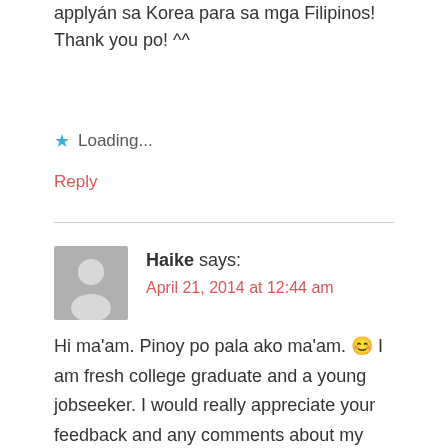applyán sa Korea para sa mga Filipinos! Thank you po! ^^
★ Loading...
Reply
Haike says:
April 21, 2014 at 12:44 am
Hi ma'am. Pinoy po pala ako ma'am. 😊 I am fresh college graduate and a young jobseeker. I would really appreciate your feedback and any comments about my concern ma'am. Thanks in advance ma'am. Gusto ko po sanang mag work sa Korea. Kahit anong trabaho na pwdeng magamit yung educational backround ko po. BS